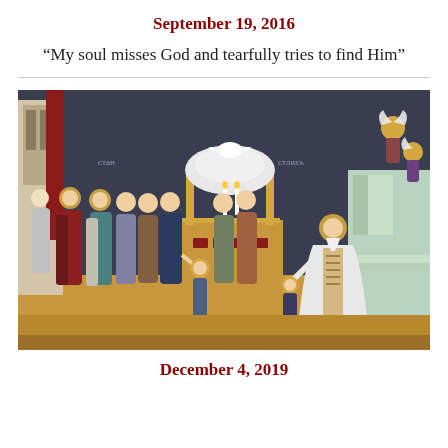September 19, 2016
“My soul misses God and tearfully tries to find Him”
[Figure (illustration): Byzantine/Orthodox fresco painting depicting a religious scene with multiple haloed figures in robes, gathered around a central altar or ciborium structure. Several women are shown being led by a figure, approaching a bearded elder in liturgical vestments on the right. Angels appear in the upper right corner. The style is traditional Orthodox iconographic fresco.]
December 4, 2019